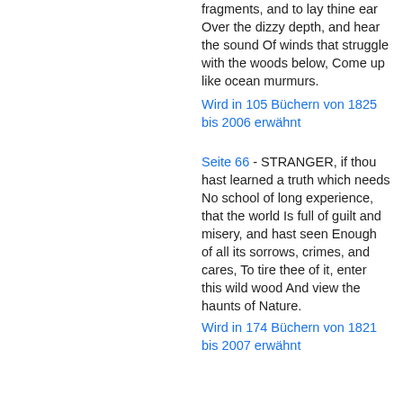fragments, and to lay thine ear Over the dizzy depth, and hear the sound Of winds that struggle with the woods below, Come up like ocean murmurs.
Wird in 105 Büchern von 1825 bis 2006 erwähnt
Seite 66 - STRANGER, if thou hast learned a truth which needs No school of long experience, that the world Is full of guilt and misery, and hast seen Enough of all its sorrows, crimes, and cares, To tire thee of it, enter this wild wood And view the haunts of Nature.
Wird in 174 Büchern von 1821 bis 2007 erwähnt